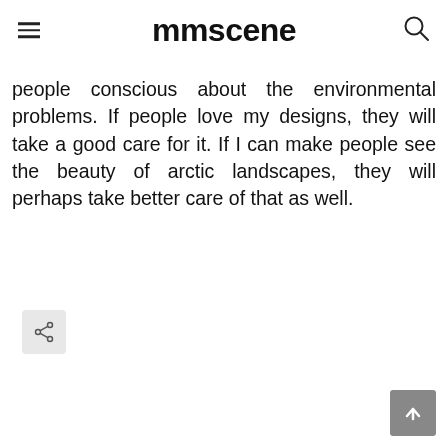mmscene
people conscious about the environmental problems. If people love my designs, they will take a good care for it. If I can make people see the beauty of arctic landscapes, they will perhaps take better care of that as well.
[Figure (other): Share button icon (social sharing)]
[Figure (other): Scroll to top button with upward arrow]